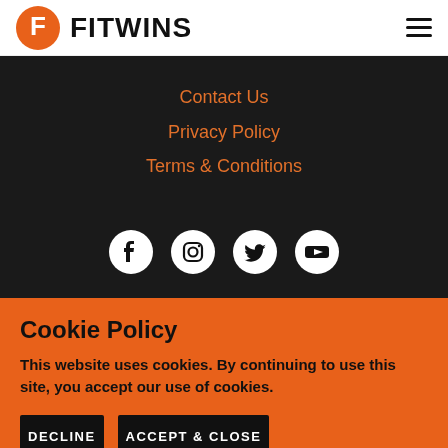FITWINS
Contact Us
Privacy Policy
Terms & Conditions
[Figure (illustration): Social media icons: Facebook, Instagram, Twitter, YouTube]
Cookie Policy
This website uses cookies. By continuing to use this site, you accept our use of cookies.
DECLINE | ACCEPT & CLOSE